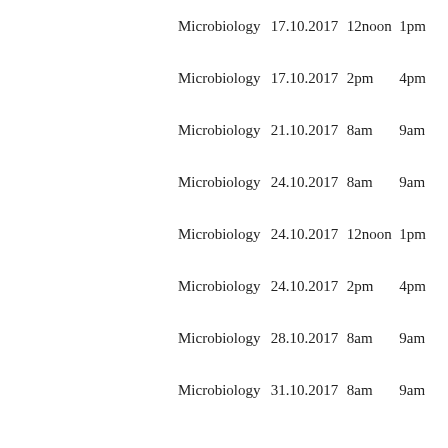| Subject | Date | Start | End |  |
| --- | --- | --- | --- | --- |
| Microbiology | 17.10.2017 | 12noon | 1pm |  |
| Microbiology | 17.10.2017 | 2pm | 4pm |  |
| Microbiology | 21.10.2017 | 8am | 9am |  |
| Microbiology | 24.10.2017 | 8am | 9am |  |
| Microbiology | 24.10.2017 | 12noon | 1pm |  |
| Microbiology | 24.10.2017 | 2pm | 4pm |  |
| Microbiology | 28.10.2017 | 8am | 9am |  |
| Microbiology | 31.10.2017 | 8am | 9am |  |